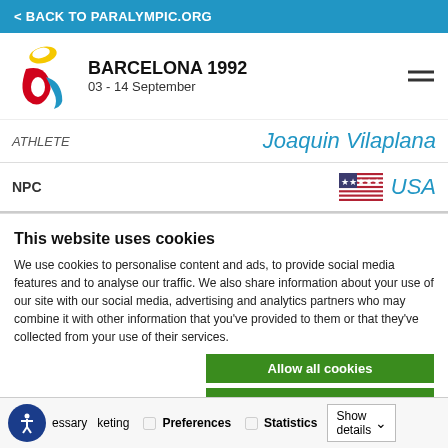< BACK TO PARALYMPIC.ORG
[Figure (logo): Barcelona 1992 Paralympics logo with yellow and red curved shapes]
BARCELONA 1992
03 - 14 September
ATHLETE	Joaquin Vilaplana
NPC	USA
This website uses cookies
We use cookies to personalise content and ads, to provide social media features and to analyse our traffic. We also share information about your use of our site with our social media, advertising and analytics partners who may combine it with other information that you've provided to them or that they've collected from your use of their services.
Allow all cookies
Allow selection
Use necessary cookies o
essary
keting	Preferences	Statistics	Show details